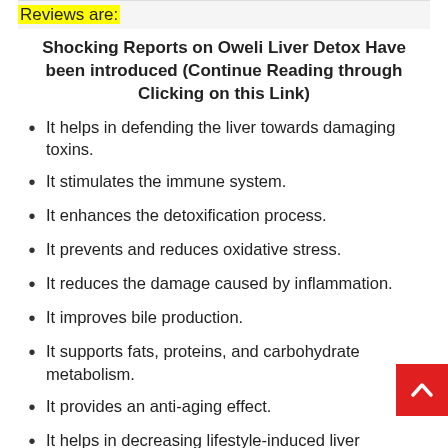Reviews are:
Shocking Reports on Oweli Liver Detox Have been introduced (Continue Reading through Clicking on this Link)
It helps in defending the liver towards damaging toxins.
It stimulates the immune system.
It enhances the detoxification process.
It prevents and reduces oxidative stress.
It reduces the damage caused by inflammation.
It improves bile production.
It supports fats, proteins, and carbohydrate metabolism.
It provides an anti-aging effect.
It helps in decreasing lifestyle-induced liver